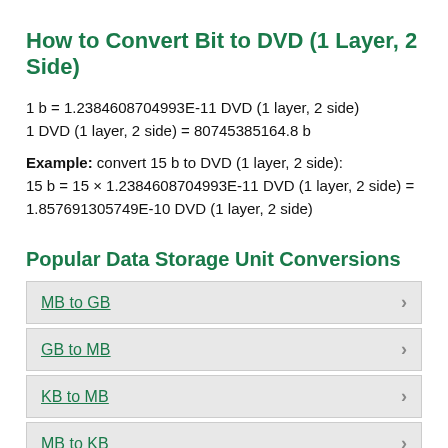How to Convert Bit to DVD (1 Layer, 2 Side)
1 b = 1.2384608704993E-11 DVD (1 layer, 2 side)
1 DVD (1 layer, 2 side) = 80745385164.8 b
Example: convert 15 b to DVD (1 layer, 2 side):
15 b = 15 × 1.2384608704993E-11 DVD (1 layer, 2 side) = 1.857691305749E-10 DVD (1 layer, 2 side)
Popular Data Storage Unit Conversions
MB to GB
GB to MB
KB to MB
MB to KB